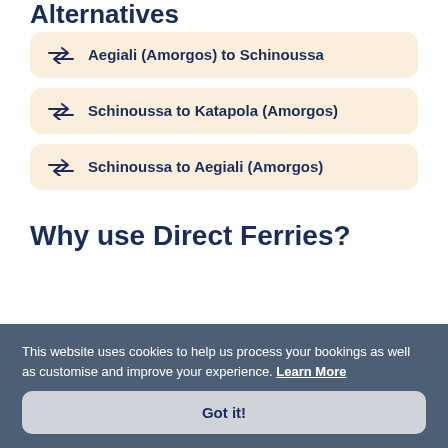Alternatives
Aegiali (Amorgos) to Schinoussa
Schinoussa to Katapola (Amorgos)
Schinoussa to Aegiali (Amorgos)
Why use Direct Ferries?
This website uses cookies to help us process your bookings as well as customise and improve your experience. Learn More
Got it!